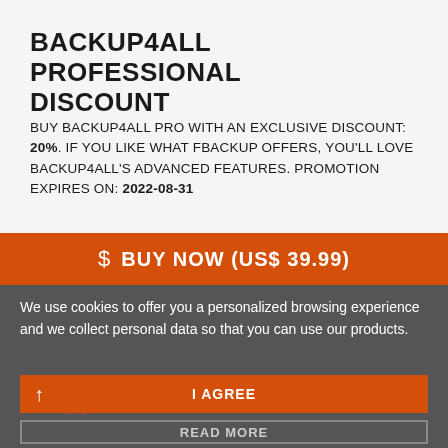BACKUP4ALL PROFESSIONAL DISCOUNT
BUY BACKUP4ALL PRO WITH AN EXCLUSIVE DISCOUNT: 20%. IF YOU LIKE WHAT FBACKUP OFFERS, YOU'LL LOVE BACKUP4ALL'S ADVANCED FEATURES. PROMOTION EXPIRES ON: 2022-08-31
$ BUY NOW (US$ 39.99)
We use cookies to offer you a personalized browsing experience and we collect personal data so that you can use our products.
I AGREE
READ MORE